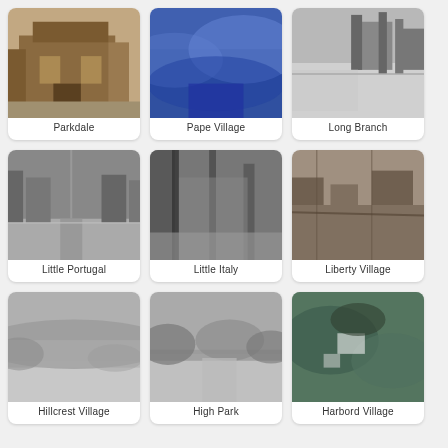[Figure (photo): Historical photo of a building in Parkdale neighbourhood]
Parkdale
[Figure (photo): Aerial blue-tinted photo of Pape Village neighbourhood]
Pape Village
[Figure (photo): Black and white industrial photo of Long Branch]
Long Branch
[Figure (photo): Black and white street photo of Little Portugal]
Little Portugal
[Figure (photo): Black and white urban photo of Little Italy]
Little Italy
[Figure (photo): Aerial colour photo of Liberty Village]
Liberty Village
[Figure (photo): Black and white nature/park photo of Hillcrest Village]
Hillcrest Village
[Figure (photo): Black and white park photo of High Park]
High Park
[Figure (photo): Aerial colour photo of Harbord Village]
Harbord Village